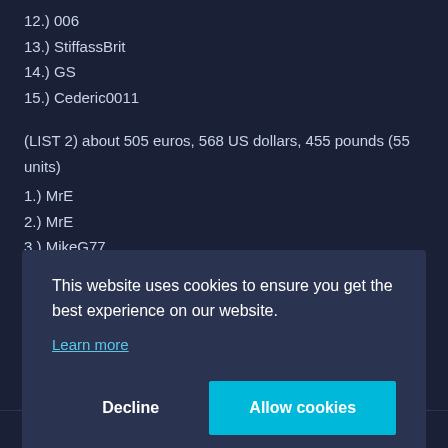12.) 006
13.) StiffassBrit
14.) GS
15.) Cederic0011
(LIST 2) about 505 euros, 568 US dollars, 455 pounds (55 units)
1.) MrE
2.) MrE
3.) MikeG77
4.) MikeG77
5.) jared_nomek (partial)
This website uses cookies to ensure you get the best experience on our website.
Learn more
15.) VegasBond